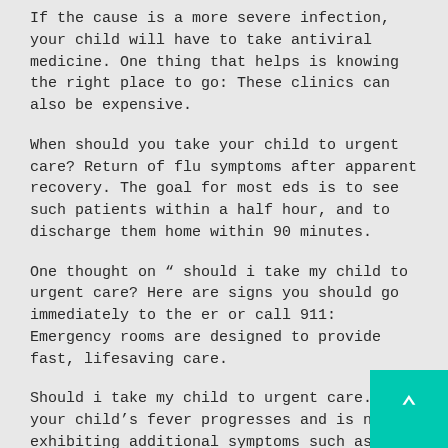If the cause is a more severe infection, your child will have to take antiviral medicine. One thing that helps is knowing the right place to go: These clinics can also be expensive.
When should you take your child to urgent care? Return of flu symptoms after apparent recovery. The goal for most eds is to see such patients within a half hour, and to discharge them home within 90 minutes.
One thought on “ should i take my child to urgent care? Here are signs you should go immediately to the er or call 911: Emergency rooms are designed to provide fast, lifesaving care.
Should i take my child to urgent care. If your child’s fever progresses and is now exhibiting additional symptoms such as rashes, abdominal pain, and/or vomiting, you need to take your child to an urgent care center. An urgent care clinic serves nonemergency but urgent medical needs, such as